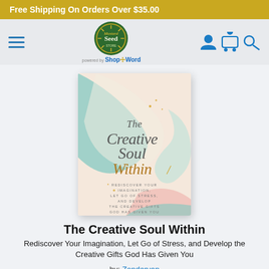Free Shipping On Orders Over $35.00
[Figure (logo): Mustard Seed store logo with green circular badge and 'powered by ShopTheWord' text below]
[Figure (illustration): Book cover of 'The Creative Soul Within' with pastel watercolor swirls in teal and pink, gold title text]
The Creative Soul Within
Rediscover Your Imagination, Let Go of Stress, and Develop the Creative Gifts God Has Given You
by: Zondervan